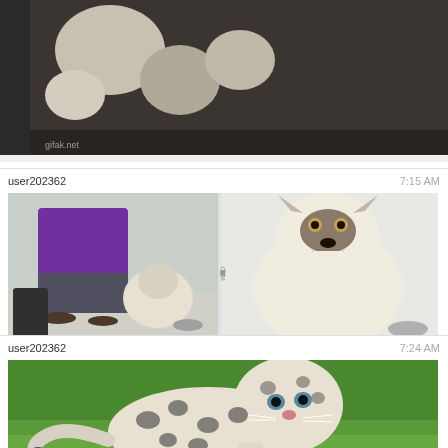[Figure (photo): Partial image of cats/animals at top of feed, with gifak.net watermark]
user202362
7:15 AM
[Figure (photo): Side-by-side collage: left shows a person in purple shirt grooming a Husky dog from behind; right shows a large fat Husky sitting and smiling at camera with a bowl on the floor]
user202362
7:24 AM
[Figure (photo): A snow leopard cub walking on green grass, looking at camera]